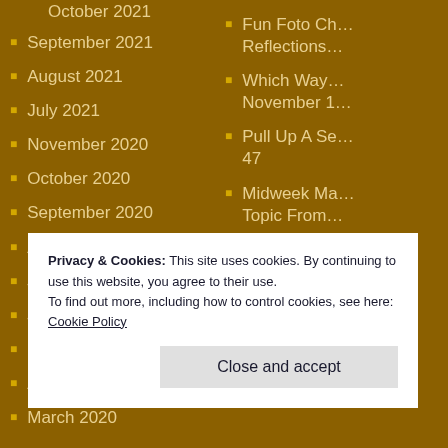October 2021
September 2021
August 2021
July 2021
November 2020
October 2020
September 2020
August 2020
July 2020
June 2020
May 2020
April 2020
March 2020
Fun Foto Ch… Reflections…
Which Way… November 1…
Pull Up A Se… 47
Midweek Ma… Topic From…
Privacy & Cookies: This site uses cookies. By continuing to use this website, you agree to their use.
To find out more, including how to control cookies, see here: Cookie Policy
Close and accept